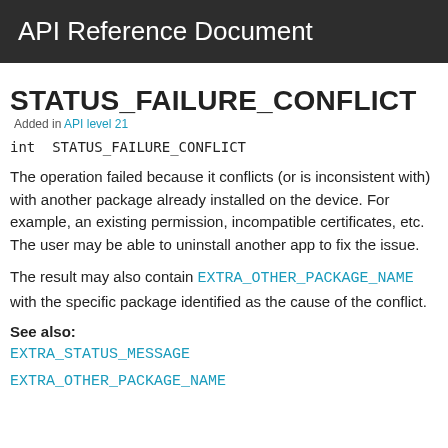API Reference Document
STATUS_FAILURE_CONFLICT Added in API level 21
int STATUS_FAILURE_CONFLICT
The operation failed because it conflicts (or is inconsistent with) with another package already installed on the device. For example, an existing permission, incompatible certificates, etc. The user may be able to uninstall another app to fix the issue.
The result may also contain EXTRA_OTHER_PACKAGE_NAME with the specific package identified as the cause of the conflict.
See also:
EXTRA_STATUS_MESSAGE
EXTRA_OTHER_PACKAGE_NAME